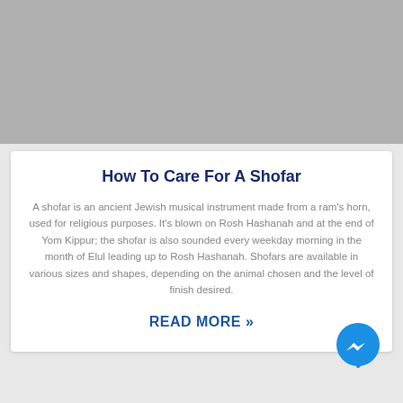[Figure (photo): Gray placeholder image at the top of the card]
How To Care For A Shofar
A shofar is an ancient Jewish musical instrument made from a ram's horn, used for religious purposes. It's blown on Rosh Hashanah and at the end of Yom Kippur; the shofar is also sounded every weekday morning in the month of Elul leading up to Rosh Hashanah. Shofars are available in various sizes and shapes, depending on the animal chosen and the level of finish desired.
READ MORE »
[Figure (logo): Facebook Messenger chat button (blue circle with lightning bolt icon)]